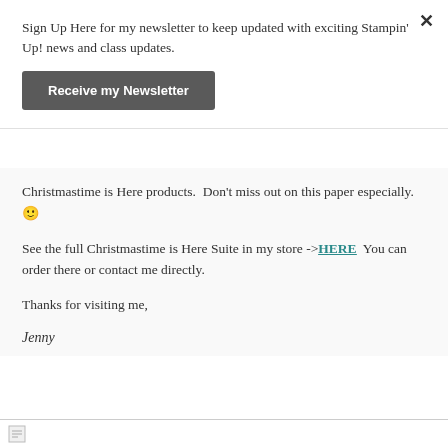Sign Up Here for my newsletter to keep updated with exciting Stampin' Up! news and class updates.
Receive my Newsletter
Christmastime is Here products.  Don't miss out on this paper especially. 🙂
See the full Christmastime is Here Suite in my store ->HERE  You can order there or contact me directly.
Thanks for visiting me,
Jenny